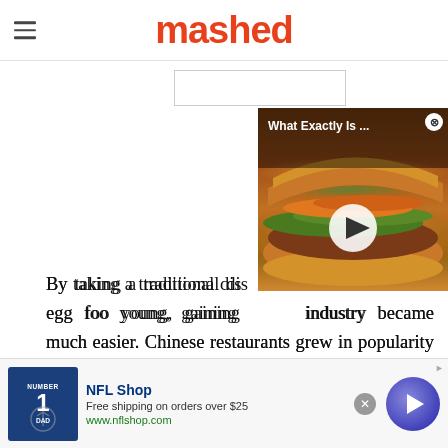mashed
[Figure (screenshot): Video thumbnail showing a sandwich (sub/hoagie) with text overlay 'What Exactly Is ...' and a play button, appearing as a floating video player widget]
By taking a traditional dis[h and transforming it] into egg foo young, gaining [access to the restaurant] industry became much easier. Chinese restaurants grew in popularity for a variety of reasons, but the fact that menus began to include more options that catered to a much wider audience played a significant role. The addition of egg foo young is just one part of that process.
[Figure (screenshot): Advertisement banner for NFL Shop: 'Free shipping on orders over $25' at www.nflshop.com, with a Dallas Cowboys #1 DAD jersey image on the left and a circular arrow button on the right]